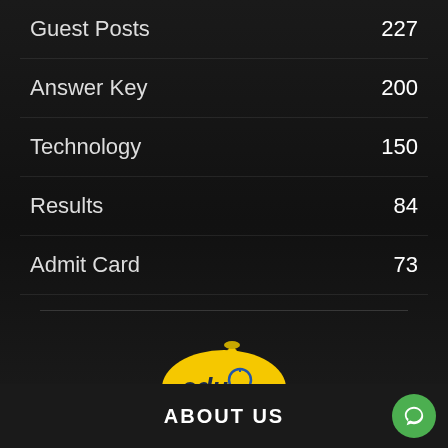Guest Posts  227
Answer Key  200
Technology  150
Results  84
Admit Card  73
[Figure (logo): EduMouLive logo — yellow oval with 'edu' text and lightbulb icon, with 'EduMouLive' script text below]
ABOUT US